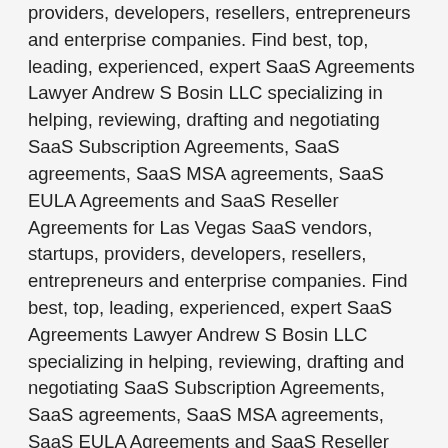providers, developers, resellers, entrepreneurs and enterprise companies. Find best, top, leading, experienced, expert SaaS Agreements Lawyer Andrew S Bosin LLC specializing in helping, reviewing, drafting and negotiating SaaS Subscription Agreements, SaaS agreements, SaaS MSA agreements, SaaS EULA Agreements and SaaS Reseller Agreements for Las Vegas SaaS vendors, startups, providers, developers, resellers, entrepreneurs and enterprise companies. Find best, top, leading, experienced, expert SaaS Agreements Lawyer Andrew S Bosin LLC specializing in helping, reviewing, drafting and negotiating SaaS Subscription Agreements, SaaS agreements, SaaS MSA agreements, SaaS EULA Agreements and SaaS Reseller Agreements for Los Angeles, California SaaS vendors, startups, providers, developers, resellers, entrepreneurs and enterprise companies. Find best, top, leading, experienced, expert SaaS Agreements Lawyer Andrew S Bosin LLC specializing in helping, reviewing, drafting and negotiating SaaS Subscription